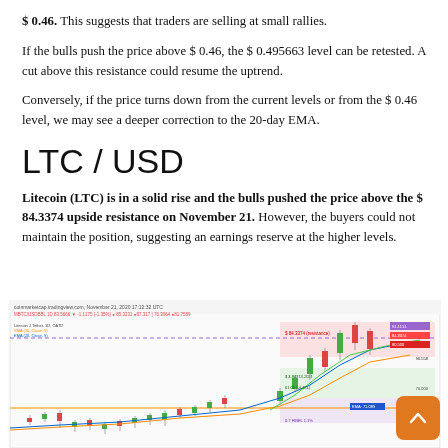$ 0.46. This suggests that traders are selling at small rallies.
If the bulls push the price above $ 0.46, the $ 0.495663 level can be retested. A cut above this resistance could resume the uptrend.
Conversely, if the price turns down from the current levels or from the $ 0.46 level, we may see a deeper correction to the 20-day EMA.
LTC / USD
Litecoin (LTC) is in a solid rise and the bulls pushed the price above the $ 84.3374 upside resistance on November 21. However, the buyers could not maintain the position, suggesting an earnings reserve at the higher levels.
[Figure (screenshot): LTC/USD trading chart from TradingView showing candlestick price action with EMA lines, resistance zones highlighted in pink and green shading, and price movement from approximately late October to November 21, 2020.]